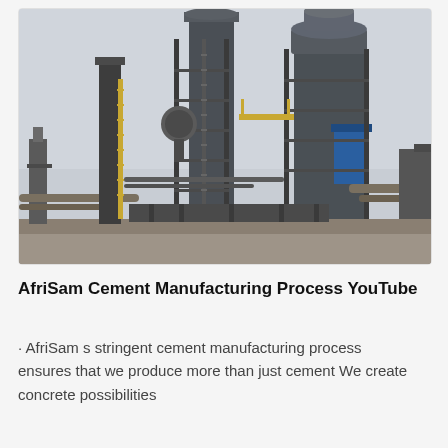[Figure (photo): Outdoor photograph of an industrial cement manufacturing facility showing tall dark steel silos, scaffolding, ladders, pipes, and structural steel framework against an overcast grey sky. Ground level shows concrete and earthworks.]
AfriSam Cement Manufacturing Process YouTube
· AfriSam s stringent cement manufacturing process ensures that we produce more than just cement We create concrete possibilities